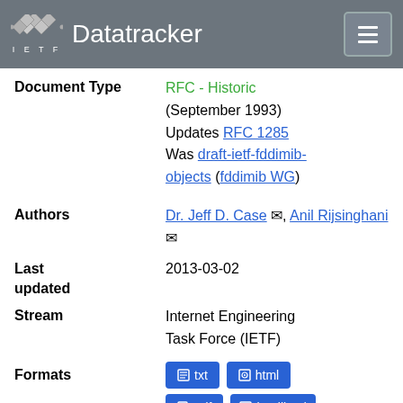IETF Datatracker
| Field | Value |
| --- | --- |
| Document Type | RFC - Historic (September 1993) Updates RFC 1285 Was draft-ietf-fddimib-objects (fddimib WG) |
| Authors | Dr. Jeff D. Case, Anil Rijsinghani |
| Last updated | 2013-03-02 |
| Stream | Internet Engineering Task Force (IETF) |
| Formats | txt  html  pdf  htmllized  bibtex |